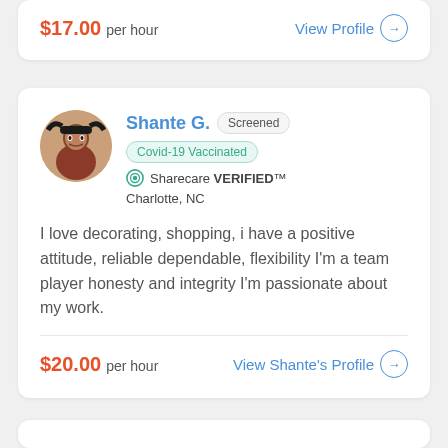$17.00 per hour
View Profile →
Shante G. | Screened | Covid-19 Vaccinated
Sharecare VERIFIED™
Charlotte, NC
I love decorating, shopping, i have a positive attitude, reliable dependable, flexibility I'm a team player honesty and integrity I'm passionate about my work.
$20.00 per hour
View Shante's Profile →